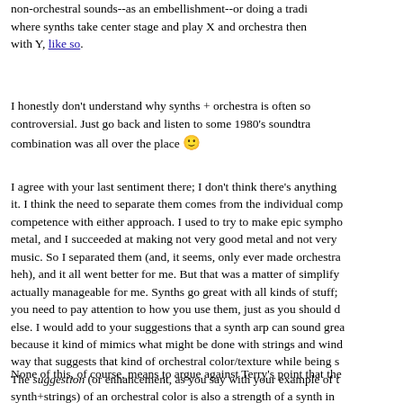non-orchestral sounds--as an embellishment--or doing a trade where synths take center stage and play X and orchestra then with Y, like so.
I honestly don't understand why synths + orchestra is often so controversial. Just go back and listen to some 1980's soundtra combination was all over the place 🙂
I agree with your last sentiment there; I don't think there's anything it. I think the need to separate them comes from the individual comp competence with either approach. I used to try to make epic sympho metal, and I succeeded at making not very good metal and not very music. So I separated them (and, it seems, only ever made orchestra heh), and it all went better for me. But that was a matter of simplify actually manageable for me. Synths go great with all kinds of stuff; you need to pay attention to how you use them, just as you should d else. I would add to your suggestions that a synth arp can sound grea because it kind of mimics what might be done with strings and wind way that suggests that kind of orchestral color/texture while being s The suggestion (or enhancement, as you say with your example of th synth+strings) of an orchestral color is also a strength of a synth in a (or even a non-orchestral track).
None of this, of course, means to argue against Terry's point that the